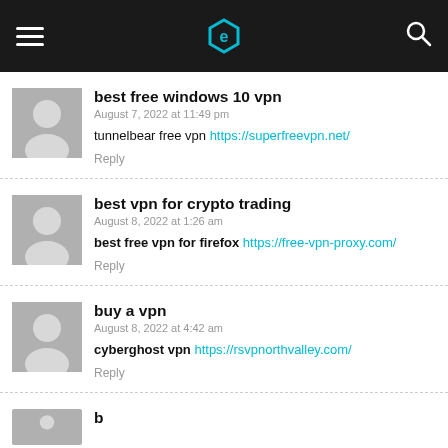Header bar with hamburger menu, logo, and search icon
best free windows 10 vpn
August 7, 2022 at 11:49 pm
tunnelbear free vpn https://superfreevpn.net/
Reply
best vpn for crypto trading
August 8, 2022 at 1:26 am
best free vpn for firefox https://free-vpn-proxy.com/
Reply
buy a vpn
August 8, 2022 at 4:42 am
cyberghost vpn https://rsvpnorthvalley.com/
Reply